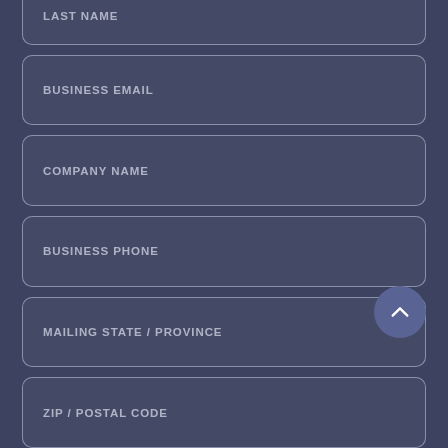LAST NAME
BUSINESS EMAIL
COMPANY NAME
BUSINESS PHONE
MAILING STATE / PROVINCE
ZIP / POSTAL CODE